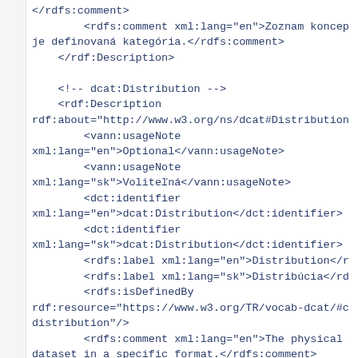XML/RDF code snippet showing rdfs:comment, rdf:Description for dcat:Distribution with vann:usageNote, dct:identifier, rdfs:label, rdfs:isDefinedBy, and rdfs:comment elements